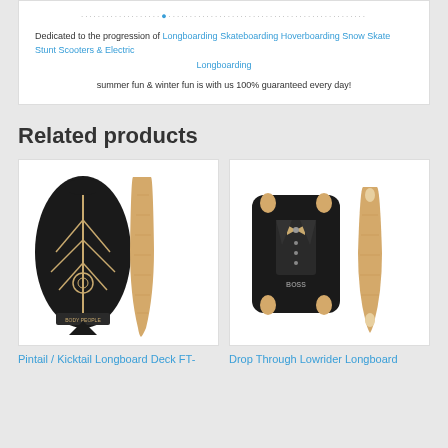Dedicated to the progression of Longboarding Skateboarding Hoverboarding Snow Skate Stunt Scooters & Electric Longboarding
summer fun & winter fun is with us 100% guaranteed every day!
Related products
[Figure (photo): Two longboard deck views - Pintail/Kicktail longboard deck shown from top (black grip tape with design) and side profile]
[Figure (photo): Two longboard deck views - Drop Through Lowrider longboard deck shown from top (black tuxedo design) and side profile (natural wood)]
Pintail / Kicktail Longboard Deck FT-
Drop Through Lowrider Longboard